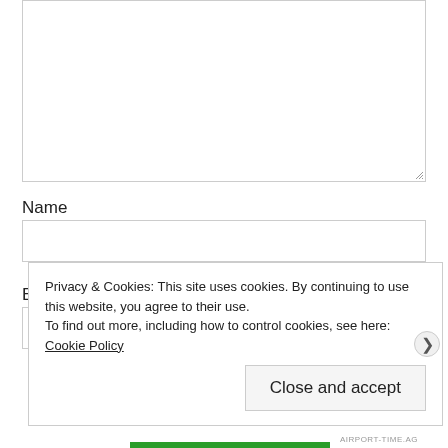[Figure (screenshot): Textarea input field (empty, with resize handle at bottom-right corner)]
Name
[Figure (screenshot): Name input text field (empty)]
Email
Privacy & Cookies: This site uses cookies. By continuing to use this website, you agree to their use. To find out more, including how to control cookies, see here: Cookie Policy
Close and accept
AIRPORT-TIME.AG